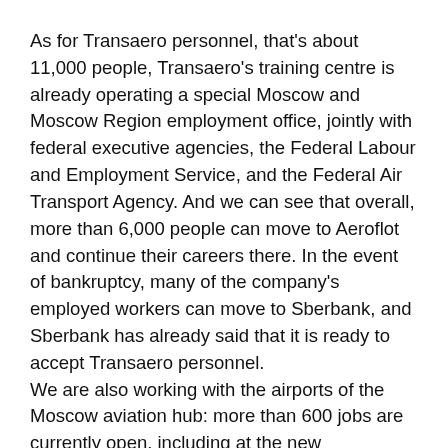As for Transaero personnel, that's about 11,000 people, Transaero's training centre is already operating a special Moscow and Moscow Region employment office, jointly with federal executive agencies, the Federal Labour and Employment Service, and the Federal Air Transport Agency. And we can see that overall, more than 6,000 people can move to Aeroflot and continue their careers there. In the event of bankruptcy, many of the company's employed workers can move to Sberbank, and Sberbank has already said that it is ready to accept Transaero personnel.
We are also working with the airports of the Moscow aviation hub: more than 600 jobs are currently open, including at the new Ramenskoye Airport, which will open at the beginning of next year. So in any case, questions pertaining to employment of Transaero personnel are generally under control and will be resolved with minimum costs.
Otherwise, all operations currently on Transaero's schedule are